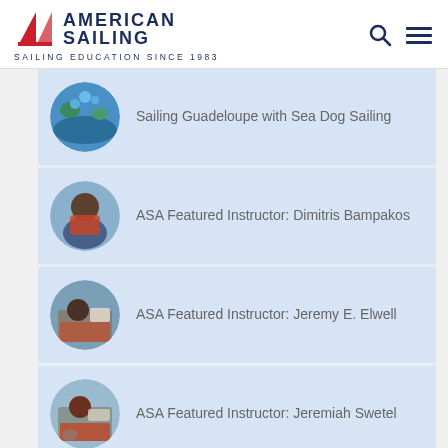[Figure (logo): American Sailing logo with red chevron/arrow icon, text AMERICAN SAILING in dark navy, tagline SAILING EDUCATION SINCE 1983]
Sailing Guadeloupe with Sea Dog Sailing
ASA Featured Instructor: Dimitris Bampakos
ASA Featured Instructor: Jeremy E. Elwell
ASA Featured Instructor: Jeremiah Swetel